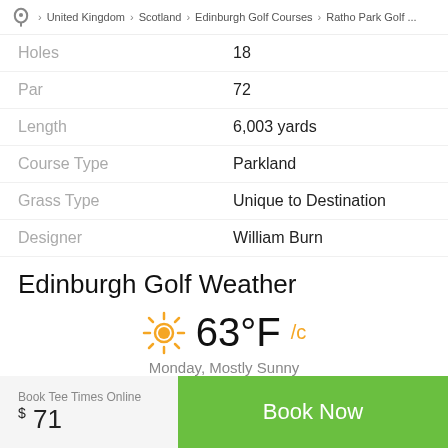United Kingdom > Scotland > Edinburgh Golf Courses > Ratho Park Golf ...
| Holes | 18 |
| Par | 72 |
| Length | 6,003 yards |
| Course Type | Parkland |
| Grass Type | Unique to Destination |
| Designer | William Burn |
Edinburgh Golf Weather
[Figure (infographic): Weather widget showing sun icon, 63°F/C temperature, Monday Mostly Sunny, Today's High 71°F, Sunrise 6:25 AM]
Book Tee Times Online $71  Book Now